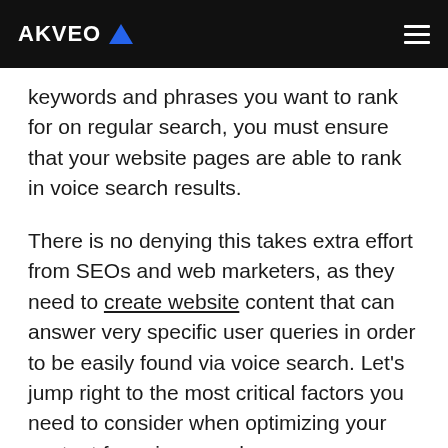AKVEO
keywords and phrases you want to rank for on regular search, you must ensure that your website pages are able to rank in voice search results.
There is no denying this takes extra effort from SEOs and web marketers, as they need to create website content that can answer very specific user queries in order to be easily found via voice search. Let’s jump right to the most critical factors you need to consider when optimizing your content for voice search.
Make your content readable